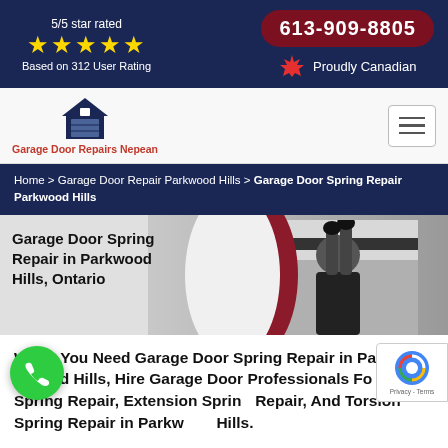5/5 star rated ★★★★★ Based on 312 User Rating | 613-909-8805 | Proudly Canadian
[Figure (logo): Garage Door Repairs Nepean logo with house/garage icon]
Home > Garage Door Repair Parkwood Hills > Garage Door Spring Repair Parkwood Hills
[Figure (photo): Technician repairing a garage door spring]
Garage Door Spring Repair in Parkwood Hills, Ontario
When You Need Garage Door Spring Repair in Parkwood Hills, Hire Garage Door Professionals For Open Spring Repair, Extension Spring Repair, And Torsion Spring Repair in Parkwood Hills.